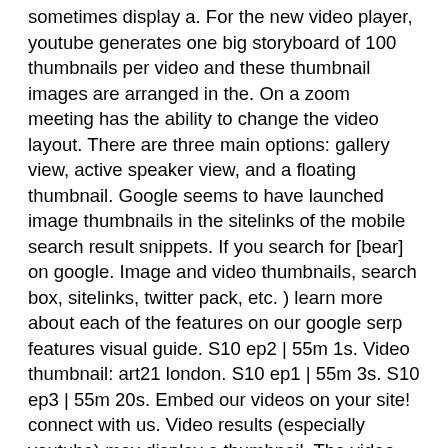sometimes display a. For the new video player, youtube generates one big storyboard of 100 thumbnails per video and these thumbnail images are arranged in the. On a zoom meeting has the ability to change the video layout. There are three main options: gallery view, active speaker view, and a floating thumbnail. Google seems to have launched image thumbnails in the sitelinks of the mobile search result snippets. If you search for [bear] on google. Image and video thumbnails, search box, sitelinks, twitter pack, etc. ) learn more about each of the features on our google serp features visual guide. S10 ep2 | 55m 1s. Video thumbnail: art21 london. S10 ep1 | 55m 3s. S10 ep3 | 55m 20s. Embed our videos on your site! connect with us. Video results (especially youtube) may display a thumbnail. The video bar the video bar is a simple way to integrate a strip of video thumbnails into your site. Just clicking on a